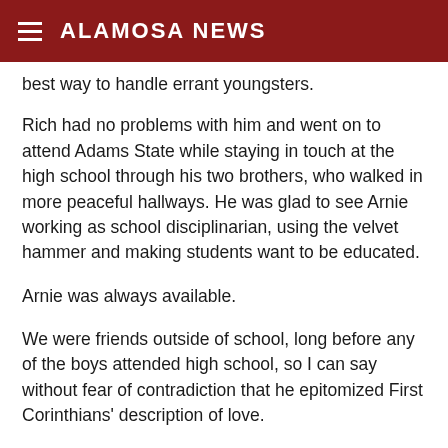ALAMOSA NEWS
best way to handle errant youngsters.
Rich had no problems with him and went on to attend Adams State while staying in touch at the high school through his two brothers, who walked in more peaceful hallways. He was glad to see Arnie working as school disciplinarian, using the velvet hammer and making students want to be educated.
Arnie was always available.
We were friends outside of school, long before any of the boys attended high school, so I can say without fear of contradiction that he epitomized First Corinthians' description of love.